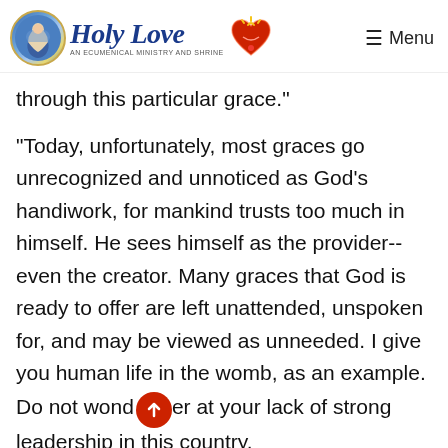HolyLove An Ecumenical Ministry and Shrine — Menu
through this particular grace."
"Today, unfortunately, most graces go unrecognized and unnoticed as God's handiwork, for mankind trusts too much in himself. He sees himself as the provider--even the creator. Many graces that God is ready to offer are left unattended, unspoken for, and may be viewed as unneeded. I give you human life in the womb, as an example. Do not wonder at your lack of strong leadership in this country.